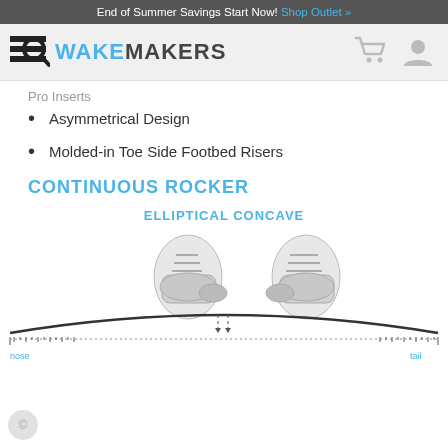End of Summer Savings Start Now! Shop Outlet »
[Figure (logo): WakeMakers logo with search icon and text WAKEMAKERS, plus cart and user icons on right]
Pro Inserts
Asymmetrical Design
Molded-in Toe Side Footbed Risers
CONTINUOUS ROCKER
ELLIPTICAL CONCAVE
[Figure (illustration): Diagram of a wakeboard showing elliptical concave cross-section with two boots mounted, nose and tail labels, dotted ruler lines, and rocker curve shape visible from below.]